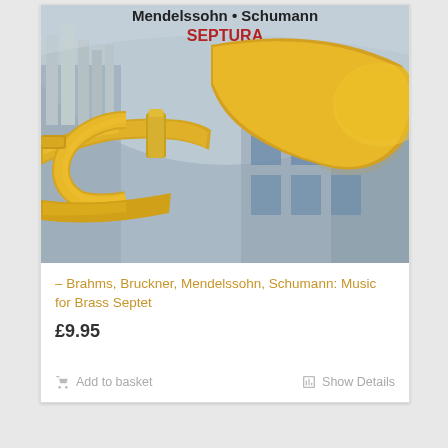[Figure (photo): Album cover for Mendelssohn • Schumann SEPTURA - showing a golden trumpet/flugelhorn in the foreground against a church interior background with organ pipes visible]
– Brahms, Bruckner, Mendelssohn, Schumann: Music for Brass Septet
£9.95
Add to basket   Show Details